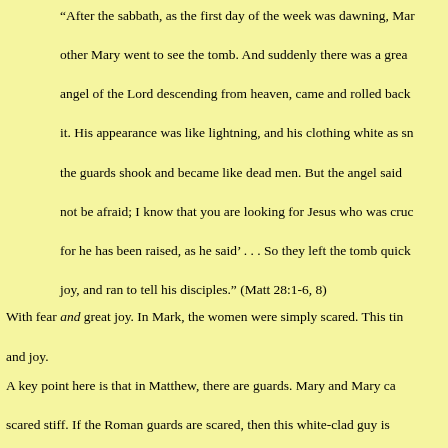“After the sabbath, as the first day of the week was dawning, Mary and the other Mary went to see the tomb. And suddenly there was a great earthquake; an angel of the Lord descending from heaven, came and rolled back the stone and sat on it. His appearance was like lightning, and his clothing white as snow. For fear of the guards shook and became like dead men. But the angel said to the women, ‘Do not be afraid; I know that you are looking for Jesus who was crucified. He is not here; for he has been raised, as he said’ . . . So they left the tomb quickly with fear and joy, and ran to tell his disciples.” (Matt 28:1-6, 8)
With fear and great joy. In Mark, the women were simply scared. This time there is fear and joy.
A key point here is that in Matthew, there are guards. Mary and Mary came and the guards are scared stiff. If the Roman guards are scared, then this white-clad guy is clearly not a Roman agent. So the political repression fear that was predominant in Mark is gone.
Just as the two Marys are leaving the tomb, they encounter Jesus, and he says:
“Suddenly Jesus met them and said, ‘Greetings!’ And they came to him, took hold of his feet, and worshiped him. Then Jesus said to then, ‘Do not be afraid; go and tell my brothers to go to Galilee; there they will see me.” (28: 9-10)
Some of Jerusalem’s rulers catch wind of the news that Jesus’ body has gone, and they concoct a story, which they bribe the guards to affirm, that some of Jesus’ followers came in the night and took the body away. Only in Matthew do we get this strange lit